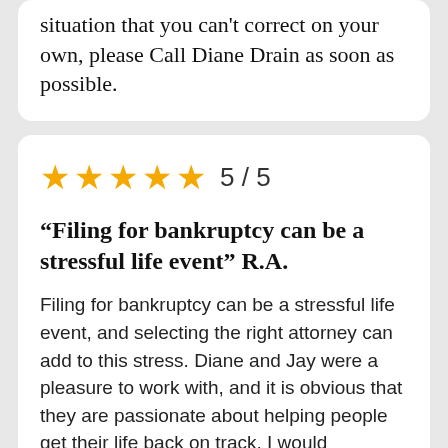situation that you can't correct on your own, please Call Diane Drain as soon as possible.
[Figure (other): Five gold stars rating with 5/5 text]
“Filing for bankruptcy can be a stressful life event” R.A.
Filing for bankruptcy can be a stressful life event, and selecting the right attorney can add to this stress. Diane and Jay were a pleasure to work with, and it is obvious that they are passionate about helping people get their life back on track. I would